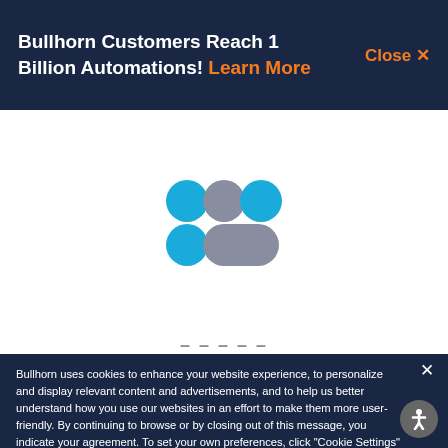Bullhorn Customers Reach 1 Billion Automations! Learn More   Close X
[Figure (other): Loading spinner with four dots arranged in a 2x2 grid: top-left blue circle, top-middle gray circle, top-right blue circle, bottom-left blue circle, bottom-right gray elongated/merged circle shape]
Bullhorn uses cookies to enhance your website experience, to personalize and display relevant content and advertisements, and to help us better understand how you use our websites in an effort to make them more user-friendly. By continuing to browse or by closing out of this message, you indicate your agreement. To set your own preferences, click "Cookie Settings" and you can learn more about the cookies we use by reviewing our cookie policy.